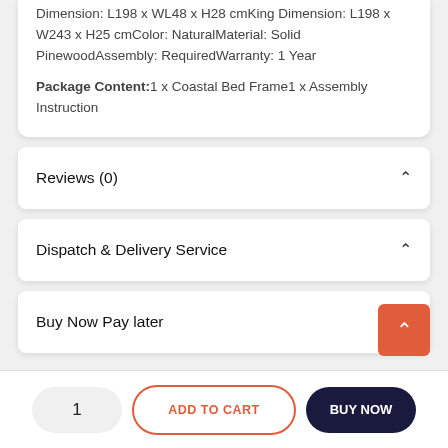Dimension: L198 x WL48 x H28 cmKing Dimension: L198 x W243 x H25 cmColor: NaturalMaterial: Solid PinewoodAssembly: RequiredWarranty: 1 Year
Package Content:1 x Coastal Bed Frame1 x Assembly Instruction
Reviews (0)
Dispatch & Delivery Service
Buy Now Pay later
1
ADD TO CART
BUY NOW